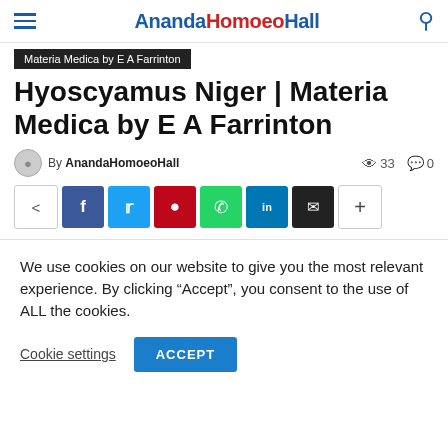AnandaHomoeoHall
Materia Medica by E A Farrinton
Hyoscyamus Niger | Materia Medica by E A Farrinton
By AnandaHomoeoHall   33   0
[Figure (other): Social share buttons: share, Facebook, Twitter, Pinterest, WhatsApp, LinkedIn, Email, plus]
We use cookies on our website to give you the most relevant experience. By clicking “Accept”, you consent to the use of ALL the cookies.
Cookie settings   ACCEPT